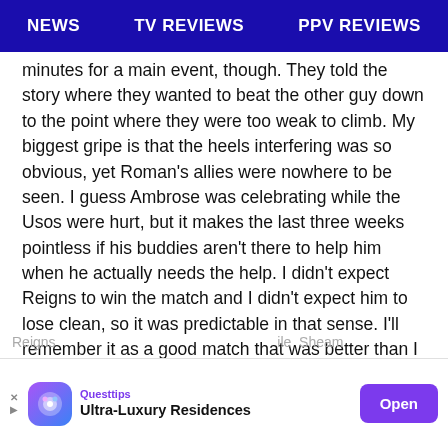NEWS   TV REVIEWS   PPV REVIEWS
minutes for a main event, though. They told the story where they wanted to beat the other guy down to the point where they were too weak to climb. My biggest gripe is that the heels interfering was so obvious, yet Roman’s allies were nowhere to be seen. I guess Ambrose was celebrating while the Usos were hurt, but it makes the last three weeks pointless if his buddies aren’t there to help him when he actually needs the help. I didn’t expect Reigns to win the match and I didn’t expect him to lose clean, so it was predictable in that sense. I’ll remember it as a good match that was better than I expected it to be.
Reigns ... ile Sheam... d
[Figure (other): Advertisement banner for Questtips Ultra-Luxury Residences with Open button]